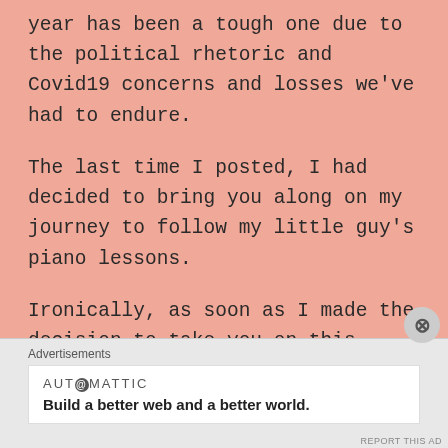year has been a tough one due to the political rhetoric and Covid19 concerns and losses we've had to endure.
The last time I posted, I had decided to bring you along on my journey to follow my little guy's piano lessons.
Ironically, as soon as I made the decision to take you on this journey, he lost the determination that drove him to rush to the piano several times during the d…
Advertisements
AUTOMATTIC
Build a better web and a better world.